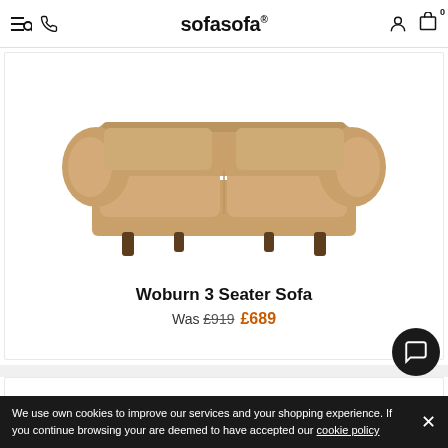sofasofa® — navigation header with menu, search, phone, account and cart icons
[Figure (photo): Woburn 3 Seater Sofa — a tan/beige fabric Chesterfield-style sofa with rolled arms and dark wooden legs, photographed on a white background]
Woburn 3 Seater Sofa
Was £919 £689
We use own cookies to improve our services and your shopping experience. If you continue browsing your are deemed to have accepted our cookie policy